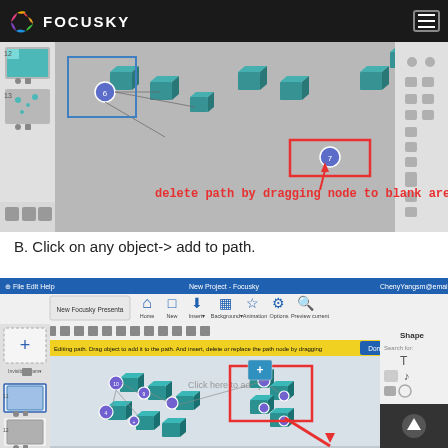FOCUSKY
[Figure (screenshot): Focusky presentation editor screenshot showing path editing with cubes connected by path lines. Red annotation text reads 'delete path by dragging node to blank area' with an arrow pointing to a node being dragged.]
B. Click on any object-> add to path.
[Figure (screenshot): Focusky New Project editor screenshot showing path editing mode with a yellow banner reading 'Editing path. Drag object to add it to the path. And insert, delete or replace the path node by dragging'. Multiple blue cubes arranged in path pattern with purple circle nodes. A red selection box highlights one area. Right panel shows Shape tools. A dark scroll-up button appears bottom right.]